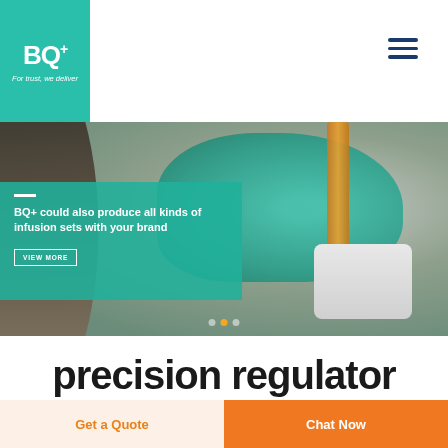[Figure (logo): BQ+ logo on teal background with tagline 'For trust, we deliver']
[Figure (photo): Medical professional wearing teal gloves handling an IV infusion set with a medical device in the background]
BQ+ could also produce all kinds of infusion sets with your brand
VIEW MORE
precision regulator
Get a Quote
Chat Now